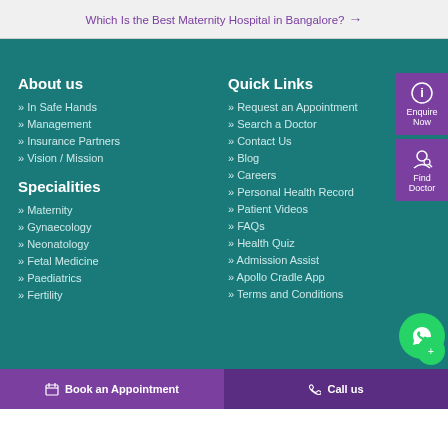Which Is the Best Maternity Hospital in Bangalore? →
About us
» In Safe Hands
» Management
» Insurance Partners
» Vision / Mission
Specialities
» Maternity
» Gynaecology
» Neonatology
» Fetal Medicine
» Paediatrics
» Fertility
Quick Links
» Request an Appointment
» Search a Doctor
» Contact Us
» Blog
» Careers
» Personal Health Record
» Patient Videos
» FAQs
» Health Quiz
» Admission Assist
» Apollo Cradle App
» Terms and Conditions
Book an Appointment   Call us